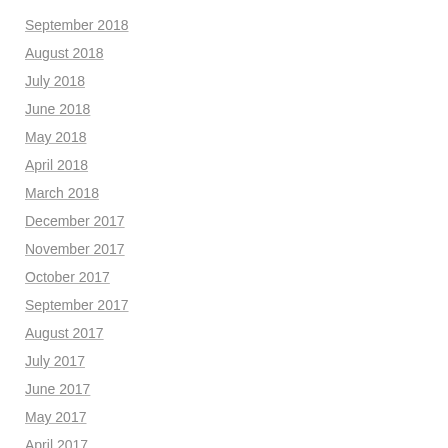September 2018
August 2018
July 2018
June 2018
May 2018
April 2018
March 2018
December 2017
November 2017
October 2017
September 2017
August 2017
July 2017
June 2017
May 2017
April 2017
March 2017
February 2017
January 2017